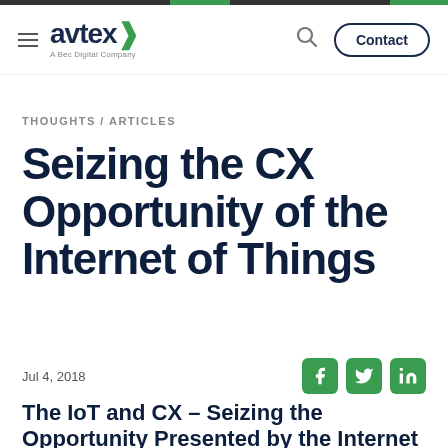avtex — A Bec Digital Company | Contact
THOUGHTS / ARTICLES
Seizing the CX Opportunity of the Internet of Things
Jul 4, 2018
The IoT and CX – Seizing the Opportunity Presented by the Internet